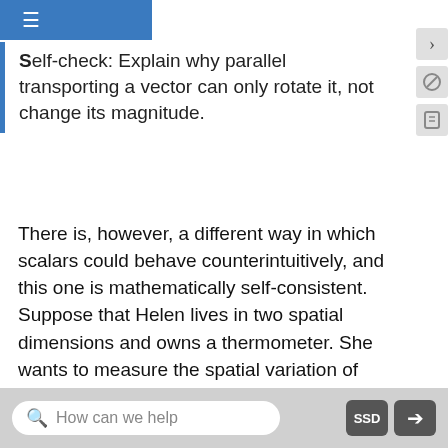≡
Self-check: Explain why parallel transporting a vector can only rotate it, not change its magnitude.
There is, however, a different way in which scalars could behave counterintuitively, and this one is mathematically self-consistent. Suppose that Helen lives in two spatial dimensions and owns a thermometer. She wants to measure the spatial variation of temperature, in particular its mixed second derivative ∂²T/∂x∂y. At home in the morning at point A, she prepares by calibrating her gyrocompass to point north and measuring the temperature. Then she travels ℓ = 1 km east along a geodesic to B, consults her gyrocompass, and turns north. She continues one
How can we help   SSD